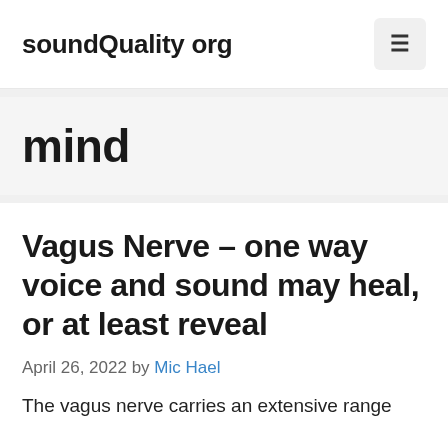soundQuality org
mind
Vagus Nerve – one way voice and sound may heal, or at least reveal
April 26, 2022 by Mic Hael
The vagus nerve carries an extensive range